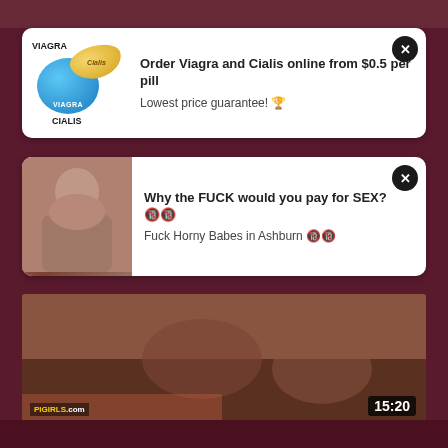[Figure (photo): Top image strip — partial view of figures against dark background]
[Figure (advertisement): Viagra and Cialis online ad with pill imagery. Text: Order Viagra and Cialis online from $0.5 per pill. Lowest price guarantee!]
Order Viagra and Cialis online from $0.5 per pill
Lowest price guarantee! 🏆
[Figure (advertisement): Adult dating ad with photo of woman. Text: Why the FUCK would you pay for SEX?🔞🔞. Fuck Horny Babes in Ashburn 🔞🔞]
Why the FUCK would you pay for SEX?🔞🔞
Fuck Horny Babes in Ashburn 🔞🔞
[Figure (screenshot): Adult video thumbnail with duration 15:20 and PIGIRLS.com watermark]
Delia, Licky Lex - Delia & Licky BravoTube big tits
5610